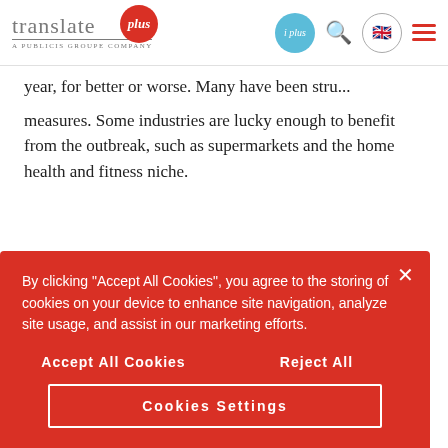translate plus — A Publicis Groupe Company — navigation header with logo, i plus button, search, language, and menu icons
year, for better or worse. Many have been struggling to switch, and the consequences of COVID included health bans and other required measures. Some industries are lucky enough to benefit from the outbreak, such as supermarkets and the home health and fitness niche.
[Figure (screenshot): Cookie consent banner overlay with red background. Text: 'By clicking "Accept All Cookies", you agree to the storing of cookies on your device to enhance site navigation, analyze site usage, and assist in our marketing efforts.' Buttons: 'Accept All Cookies', 'Reject All', 'Cookies Settings'. Close (×) button in top right.]